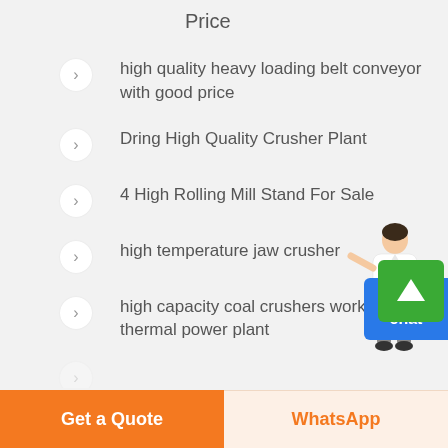Price
high quality heavy loading belt conveyor with good price
Dring High Quality Crusher Plant
4 High Rolling Mill Stand For Sale
high temperature jaw crusher
high capacity coal crushers working in thermal power plant
[Figure (illustration): Female customer service avatar figure pointing, with blue 'Free chat' button overlay]
[Figure (other): Green scroll-up button with upward arrow]
Get a Quote | WhatsApp